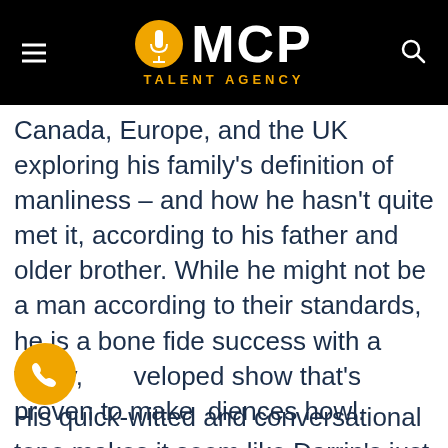MCP TALENT AGENCY
Canada, Europe, and the UK exploring his family's definition of manliness – and how he hasn't quite met it, according to his father and older brother. While he might not be a man according to their standards, he is a bone fide success with a funny, developed show that's proven to make audiences howl.
His quick-witted and conversational tone makes it seem like Darrin's just